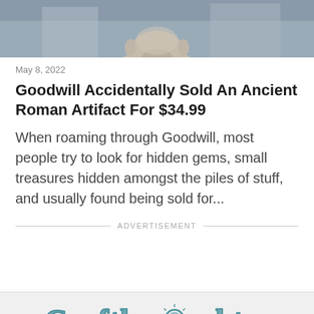[Figure (photo): Cropped photo showing the lower portion of a person's face/bust, likely a stone or marble sculpture of an ancient Roman figure, with architectural elements in the background.]
May 8, 2022
Goodwill Accidentally Sold An Ancient Roman Artifact For $34.99
When roaming through Goodwill, most people try to look for hidden gems, small treasures hidden amongst the piles of stuff, and usually found being sold for...
ADVERTISEMENT
[Figure (logo): Craftthought logo in a decorative hand-drawn teal/blue lettering style with a lightbulb replacing the 'o' in thought and a wrench graphic below.]